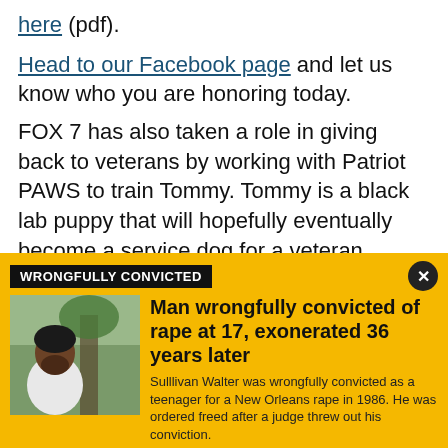here (pdf).
Head to our Facebook page and let us know who you are honoring today.
FOX 7 has also taken a role in giving back to veterans by working with Patriot PAWS to train Tommy. Tommy is a black lab puppy that will hopefully eventually become a service dog for a veteran.
The dogs start training as puppies and are trained for
[Figure (infographic): Yellow advertisement banner with 'WRONGFULLY CONVICTED' label, photo of a man, headline 'Man wrongfully convicted of rape at 17, exonerated 36 years later', and subtext 'Sulllivan Walter was wrongfully convicted as a teenager for a New Orleans rape in 1986. He was ordered freed after a judge threw out his conviction.']